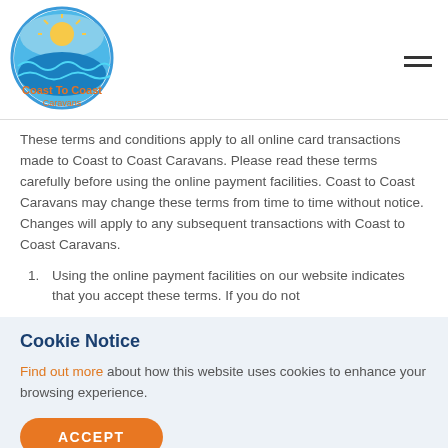[Figure (logo): Coast To Coast Caravans circular logo with orange text and wave/sun graphic]
These terms and conditions apply to all online card transactions made to Coast to Coast Caravans. Please read these terms carefully before using the online payment facilities. Coast to Coast Caravans may change these terms from time to time without notice. Changes will apply to any subsequent transactions with Coast to Coast Caravans.
Using the online payment facilities on our website indicates that you accept these terms. If you do not
Cookie Notice
Find out more about how this website uses cookies to enhance your browsing experience.